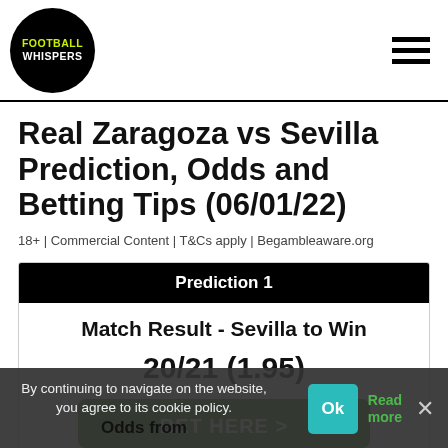FOOTBALL WHISPERS
Real Zaragoza vs Sevilla Prediction, Odds and Betting Tips (06/01/22)
18+ | Commercial Content | T&Cs apply | Begambleaware.org
| Prediction 1 |
| --- |
| Match Result - Sevilla to Win |
| 20/21 (1.95) |
| BET HERE > |
By continuing to navigate on the website, you agree to its cookie policy.
Odds from